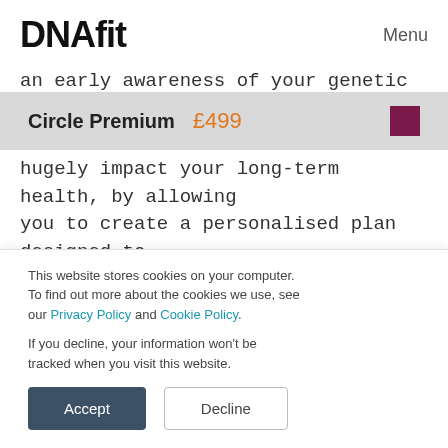DNAfit   Menu
an early awareness of your genetic
Circle Premium  £499
hugely impact your long-term health, by allowing you to create a personalised plan designed to help prevent or detect cancer at an earlier and more treatable stage.
Along with cancer, we report on how your genetics may impact your risk of developing
This website stores cookies on your computer. To find out more about the cookies we use, see our Privacy Policy and Cookie Policy.

If you decline, your information won't be tracked when you visit this website.
Accept   Decline